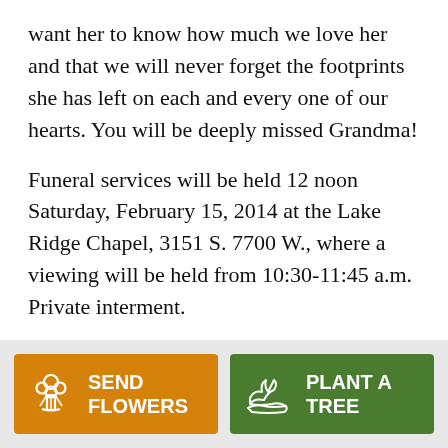want her to know how much we love her and that we will never forget the footprints she has left on each and every one of our hearts. You will be deeply missed Grandma!
Funeral services will be held 12 noon Saturday, February 15, 2014 at the Lake Ridge Chapel, 3151 S. 7700 W., where a viewing will be held from 10:30-11:45 a.m. Private interment.
Click here to listen to a recording of the service
[Figure (other): Send Flowers button (orange) and Plant a Tree button (green) in footer bar]